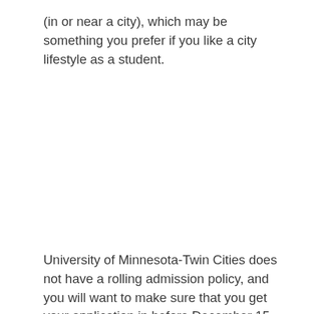(in or near a city), which may be something you prefer if you like a city lifestyle as a student.
University of Minnesota-Twin Cities does not have a rolling admission policy, and you will want to make sure that you get your application in before December 15.